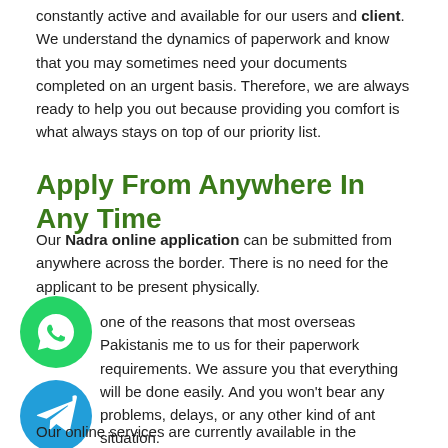constantly active and available for our users and client. We understand the dynamics of paperwork and know that you may sometimes need your documents completed on an urgent basis. Therefore, we are always ready to help you out because providing you comfort is what always stays on top of our priority list.
Apply From Anywhere In Any Time
Our Nadra online application can be submitted from anywhere across the border. There is no need for the applicant to be present physically.
one of the reasons that most overseas Pakistanis me to us for their paperwork requirements. We assure you that everything will be done easily. And you won't bear any problems, delays, or any other kind of ant situation.
[Figure (illustration): Green WhatsApp icon button (circle with phone handset)]
[Figure (illustration): Green Telegram icon button (circle with paper plane)]
Our online services are currently available in the countries: